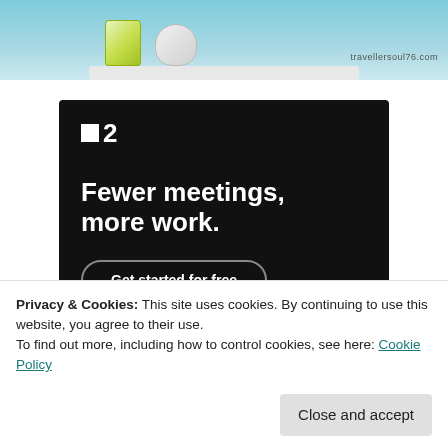[Figure (photo): Photo of a light blue shelf with two jars/containers on it, watermarked with travellersoul76.com]
[Figure (infographic): Dark advertisement banner for a project management tool showing logo with dot and '2', headline 'Fewer meetings, more work.' and a 'Get started for free' button]
Privacy & Cookies: This site uses cookies. By continuing to use this website, you agree to their use.
To find out more, including how to control cookies, see here: Cookie Policy
Close and accept
awesome-photo-editing-tools-for-social-media/